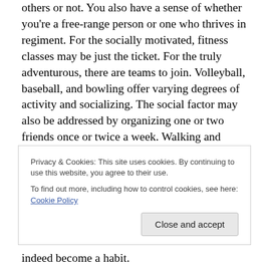others or not. You also have a sense of whether you're a free-range person or one who thrives in regiment. For the socially motivated, fitness classes may be just the ticket. For the truly adventurous, there are teams to join. Volleyball, baseball, and bowling offer varying degrees of activity and socializing. The social factor may also be addressed by organizing one or two friends once or twice a week. Walking and exercise dvds are a wonderful background for conversation. For those most inspired when alone, anything is possible. You are beholden to
Privacy & Cookies: This site uses cookies. By continuing to use this website, you agree to their use. To find out more, including how to control cookies, see here: Cookie Policy
indeed become a habit.